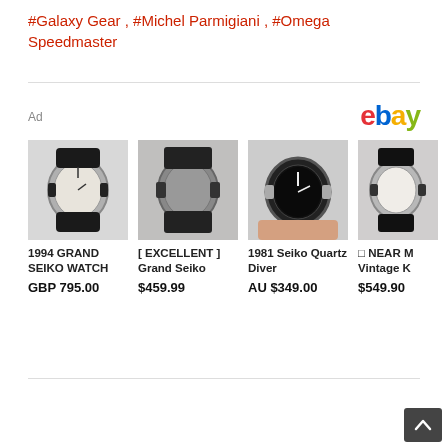#Galaxy Gear , #Michel Parmigiani , #Omega Speedmaster
Ad
[Figure (logo): eBay logo in multicolor (e=red, b=blue, a=yellow, y=green)]
[Figure (photo): Watch photo: 1994 Grand Seiko Watch with black leather strap, white dial]
1994 GRAND SEIKO WATCH
GBP 795.00
[Figure (photo): Watch photo: Excellent condition Grand Seiko with dark dial]
[ EXCELLENT ] Grand Seiko
$459.99
[Figure (photo): Watch photo: 1981 Seiko Quartz Diver with black bezel on wrist]
1981 Seiko Quartz Diver
AU $349.00
[Figure (photo): Watch photo: Near Mint Vintage K watch with white dial and leather strap]
□ NEAR M Vintage K
$549.90